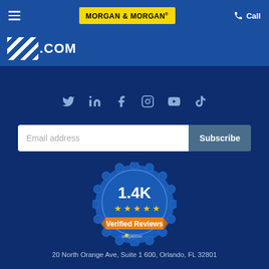Morgan & Morgan — Call
[Figure (logo): ForThePeople.com partially visible logo with diagonal stripes and .COM text]
[Figure (infographic): Social media icons: Twitter, LinkedIn, Facebook, Instagram, YouTube, TikTok]
[Figure (infographic): Email address input field with Subscribe button]
[Figure (infographic): Sitejabber badge: 1.4K Verified Reviews with 4 stars]
20 North Orange Ave, Suite 1600, Orlando, FL 32801